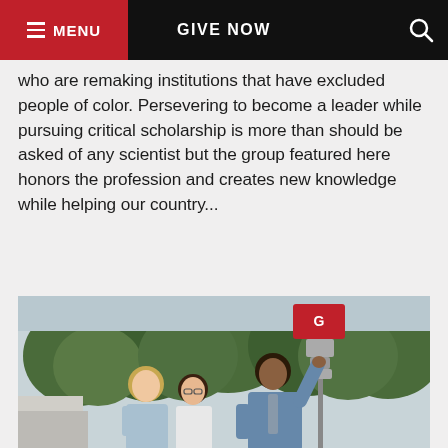MENU   GIVE NOW
who are remaking institutions that have excluded people of color. Persevering to become a leader while pursuing critical scholarship is more than should be asked of any scientist but the group featured here honors the profession and creates new knowledge while helping our country...
[Figure (photo): A man in a blue shirt and tie points up to a scientific instrument mounted on a pole, while two women stand beside him outdoors with trees in the background.]